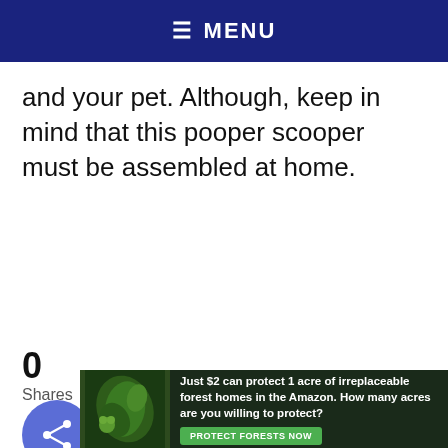≡ MENU
and your pet. Although, keep in mind that this pooper scooper must be assembled at home.
0
Shares
[Figure (other): Blue circular share button with share icon]
[Figure (other): Advertisement banner: Just $2 can protect 1 acre of irreplaceable forest homes in the Amazon. How many acres are you willing to protect? PROTECT FORESTS NOW]